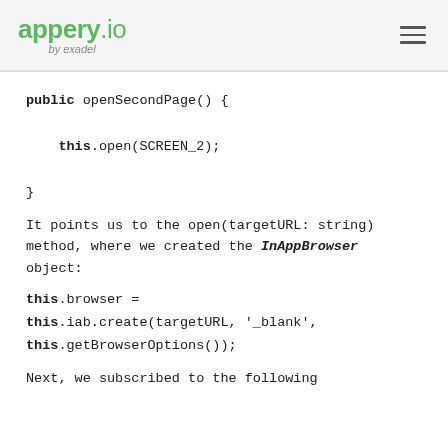appery.io by exadel
public openSecondPage() {

    this.open(SCREEN_2);

}
It points us to the open(targetURL: string) method, where we created the InAppBrowser object:
this.browser =
this.iab.create(targetURL, '_blank',
this.getBrowserOptions());
Next, we subscribed to the following